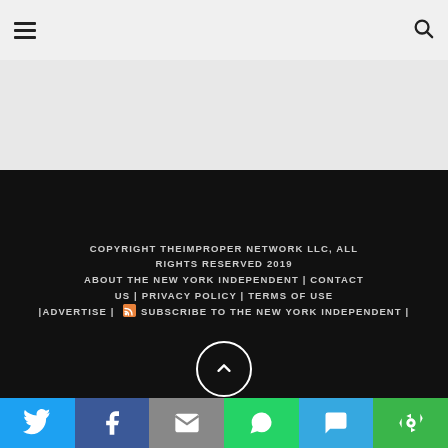Navigation header with hamburger menu and search icon
[Figure (other): Gray advertisement/banner placeholder area]
COPYRIGHT THEIMPROPER NETWORK LLC, ALL RIGHTS RESERVED 2019 ABOUT THE NEW YORK INDEPENDENT | CONTACT US | PRIVACY POLICY | TERMS OF USE |ADVERTISE | [RSS] SUBSCRIBE TO THE NEW YORK INDEPENDENT |
[Figure (other): Scroll to top button - circle with upward chevron arrow]
[Figure (infographic): Social share bar with Twitter, Facebook, Email, WhatsApp, SMS, and More buttons]